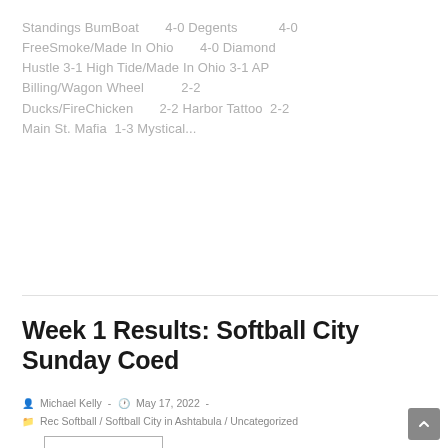Standings BumBoat 4-0 Degents 4-0 FreeSmoke/Made In Ohio 4-0 Diamond Hustle 3-1 High Tide/Made In Ohio 3-1 AP Billing/Wagon Wheel 2-2 Ducks/FireChicken 2-2 Harbor Tattoo 2-2 Main St. Mafia 1-3 Mystical...
CONTINUE READING ›
Week 1 Results: Softball City Sunday Coed
Michael Kelly - May 17, 2022 - Rec Softball / Softball City in Ashtabula / Uncategorized